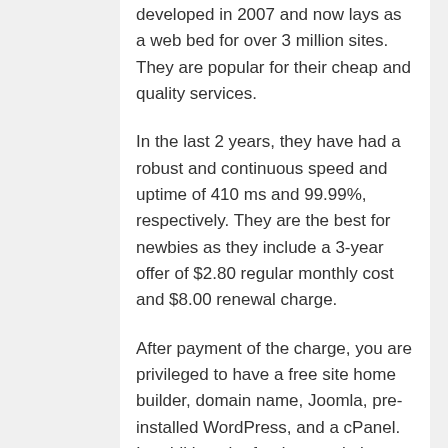developed in 2007 and now lays as a web bed for over 3 million sites. They are popular for their cheap and quality services.
In the last 2 years, they have had a robust and continuous speed and uptime of 410 ms and 99.99%, respectively. They are the best for newbies as they include a 3-year offer of $2.80 regular monthly cost and $8.00 renewal charge.
After payment of the charge, you are privileged to have a free site home builder, domain name, Joomla, pre-installed WordPress, and a cPanel. In addition, the fundamental plan contains a 50 GB SSD storage and unmetered